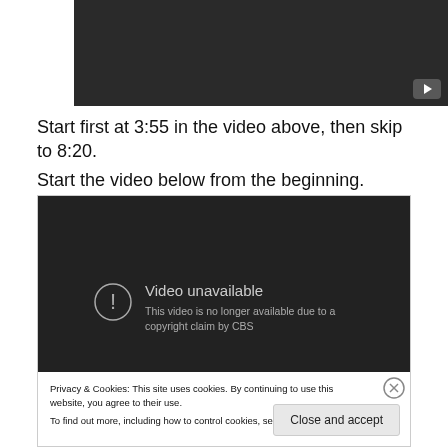[Figure (screenshot): Dark YouTube-style video player thumbnail at the top of the page with a play button in the bottom-right corner]
Start first at 3:55 in the video above, then skip to 8:20. Start the video below from the beginning.
[Figure (screenshot): Dark video player showing 'Video unavailable' message with exclamation circle icon and text 'This video is no longer available due to a copyright claim by CBS', with a cookie consent banner overlaid at the bottom showing Privacy & Cookies notice with Cookie Policy link and 'Close and accept' button]